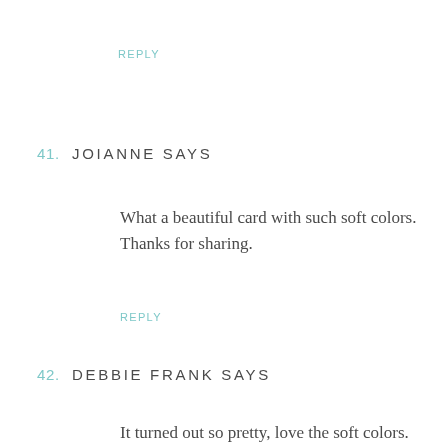REPLY
41. JOIANNE SAYS
What a beautiful card with such soft colors. Thanks for sharing.
REPLY
42. DEBBIE FRANK SAYS
It turned out so pretty, love the soft colors.
REPLY
43. SUE D SAYS